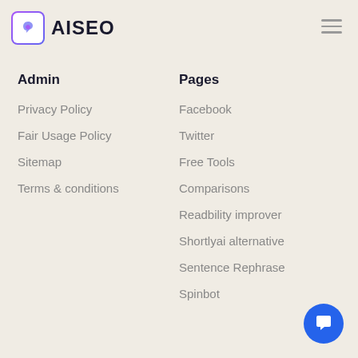[Figure (logo): AISEO logo with icon in rounded square border and bold text AISEO]
Admin
Privacy Policy
Fair Usage Policy
Sitemap
Terms & conditions
Pages
Facebook
Twitter
Free Tools
Comparisons
Readbility improver
Shortlyai alternative
Sentence Rephrase
Spinbot
[Figure (illustration): Blue circular chat/message button in bottom right corner]